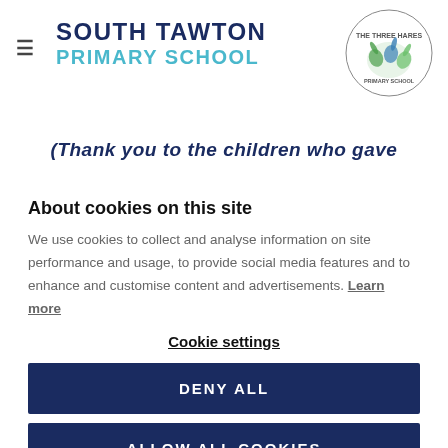SOUTH TAWTON PRIMARY SCHOOL
(Thank you to the children who gave
About cookies on this site
We use cookies to collect and analyse information on site performance and usage, to provide social media features and to enhance and customise content and advertisements. Learn more
Cookie settings
DENY ALL
ALLOW ALL COOKIES